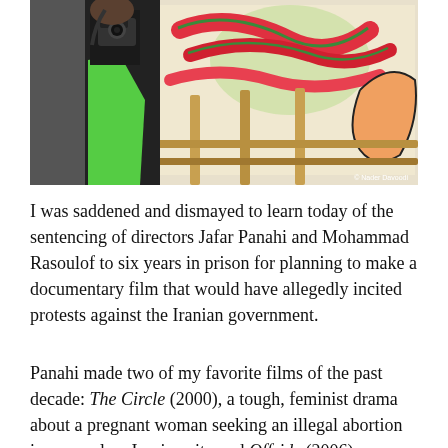[Figure (photo): A man in a green jacket holding a camera up to his face, photographing colorful Arabic/Persian calligraphy or artwork on a wall behind a wooden fence.]
I was saddened and dismayed to learn today of the sentencing of directors Jafar Panahi and Mohammad Rasoulof to six years in prison for planning to make a documentary film that would have allegedly incited protests against the Iranian government.
Panahi made two of my favorite films of the past decade: The Circle (2000), a tough, feminist drama about a pregnant woman seeking an illegal abortion in a nameless Iranian city and Offside (2006), a wonderful comedy about